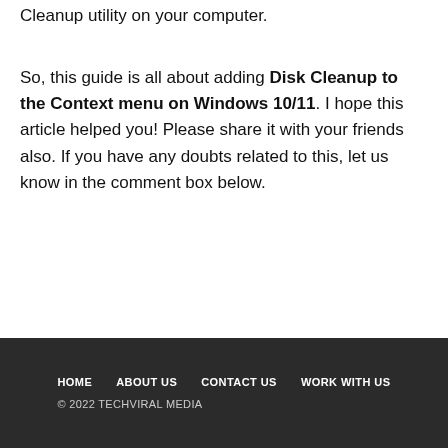Selecting this option will launch the Disk Cleanup utility on your computer.
So, this guide is all about adding Disk Cleanup to the Context menu on Windows 10/11. I hope this article helped you! Please share it with your friends also. If you have any doubts related to this, let us know in the comment box below.
HOME   ABOUT US   CONTACT US   WORK WITH US
© 2022 TECHVIRAL MEDIA